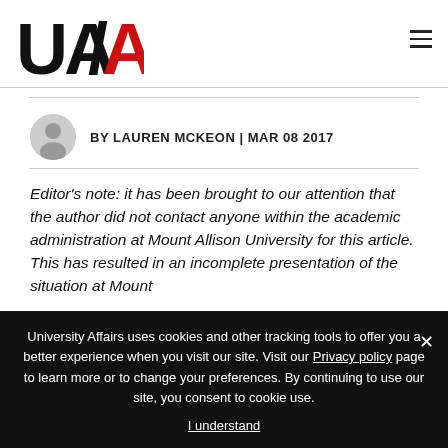UA/AU logo and navigation
BY LAUREN MCKEON | MAR 08 2017
Editor's note: it has been brought to our attention that the author did not contact anyone within the academic administration at Mount Allison University for this article. This has resulted in an incomplete presentation of the situation at Mount
University Affairs uses cookies and other tracking tools to offer you a better experience when you visit our site. Visit our Privacy policy page to learn more or to change your preferences. By continuing to use our site, you consent to cookie use.
I understand